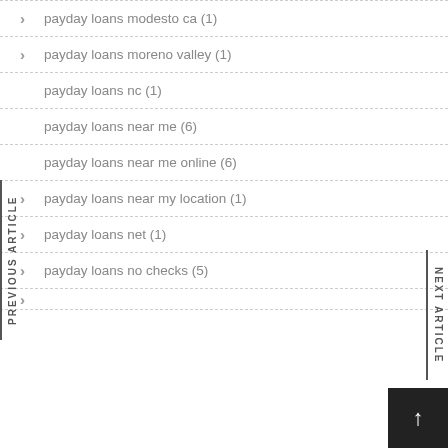payday loans modesto ca (1)
payday loans moreno valley (1)
payday loans nc (1)
payday loans near me (6)
payday loans near me online (6)
payday loans near my location (1)
payday loans net (1)
payday loans no checks (5)